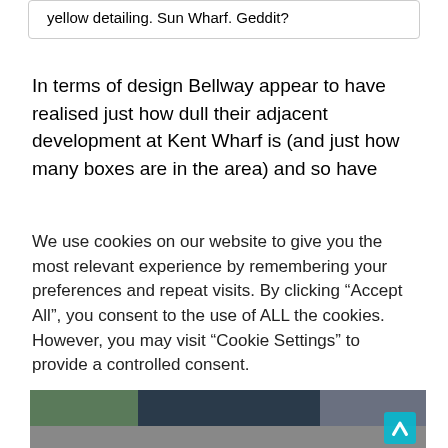yellow detailing. Sun Wharf. Geddit?
In terms of design Bellway appear to have realised just how dull their adjacent development at Kent Wharf is (and just how many boxes are in the area) and so have
We use cookies on our website to give you the most relevant experience by remembering your preferences and repeat visits. By clicking “Accept All”, you consent to the use of ALL the cookies. However, you may visit “Cookie Settings” to provide a controlled consent.
[Figure (photo): Street-level photograph of an industrial/commercial site entrance with gates, brick buildings, a blue-roofed structure with a sign, construction containers on the left, and a road in the foreground. A cyan/teal arrow icon is visible in the bottom-right corner.]